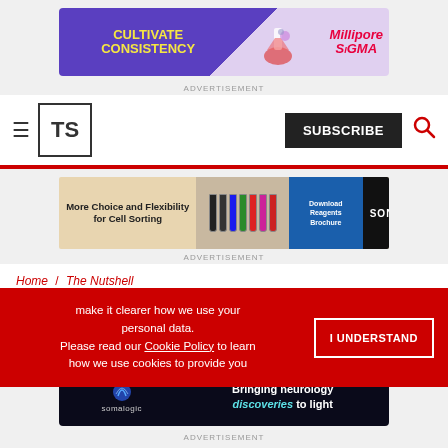[Figure (illustration): MilliporeSigma advertisement banner: purple background with 'CULTIVATE CONSISTENCY' text in yellow and MilliporeSigma logo in pink/red on right with lab imagery]
ADVERTISEMENT
[Figure (logo): The Scientist magazine navigation bar with hamburger menu, TS logo box, SUBSCRIBE button, and red search icon]
[Figure (illustration): Sony advertisement: 'More Choice and Flexibility for Cell Sorting' with tube images, Download Reagents Brochure button in blue, and SONY logo on black background]
ADVERTISEMENT
Home / The Nutshell
make it clearer how we use your personal data. Please read our Cookie Policy to learn how we use cookies to provide you
[Figure (illustration): SomaLogic advertisement: dark background with 'Bringing neurology discoveries to light' text, somalogic logo and spiral icon]
ADVERTISEMENT